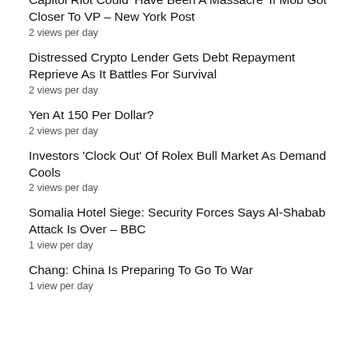Capitol Riot Could 'Have Been A Massacre' If Mob Got Closer To VP – New York Post
2 views per day
Distressed Crypto Lender Gets Debt Repayment Reprieve As It Battles For Survival
2 views per day
Yen At 150 Per Dollar?
2 views per day
Investors 'Clock Out' Of Rolex Bull Market As Demand Cools
2 views per day
Somalia Hotel Siege: Security Forces Says Al-Shabab Attack Is Over – BBC
1 view per day
Chang: China Is Preparing To Go To War
1 view per day